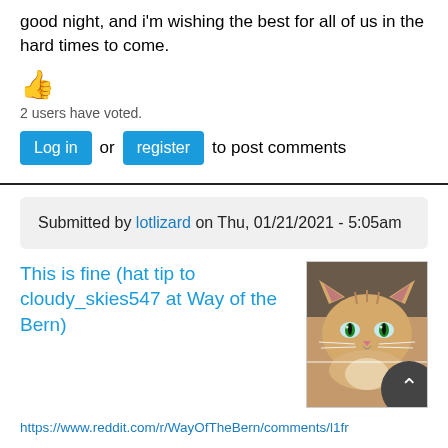good night, and i'm wishing the best for all of us in the hard times to come.
[Figure (illustration): Thumbs up emoji]
2 users have voted.
Log in or register to post comments
Submitted by lotlizard on Thu, 01/21/2021 - 5:05am
This is fine (hat tip to cloudy_skies547 at Way of the Bern)
[Figure (photo): Orange tabby cat with blue eyes, with a dark scroll-to-top button overlaid in the bottom right corner]
https://www.reddit.com/r/WayOfTheBern/comments/l1fr